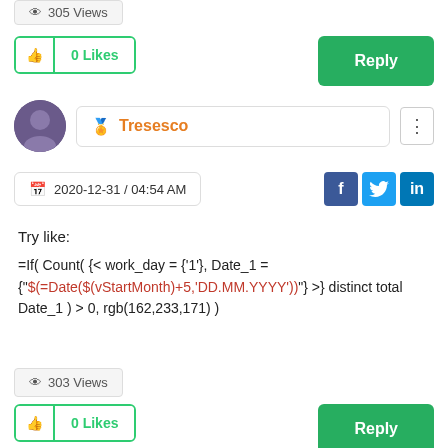305 Views
0 Likes
Reply
Tresesco
2020-12-31 / 04:54 AM
Try like:
=If( Count( {< work_day = {'1'}, Date_1 = {"$(=Date($(vStartMonth)+5,'DD.MM.YYYY'))"} >} distinct total Date_1 ) > 0, rgb(162,233,171) )
303 Views
0 Likes
Reply